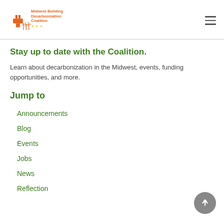Midwest Building Decarbonization Coalition
Stay up to date with the Coalition.
Learn about decarbonization in the Midwest, events, funding opportunities, and more.
Jump to
Announcements
Blog
Events
Jobs
News
Reflection